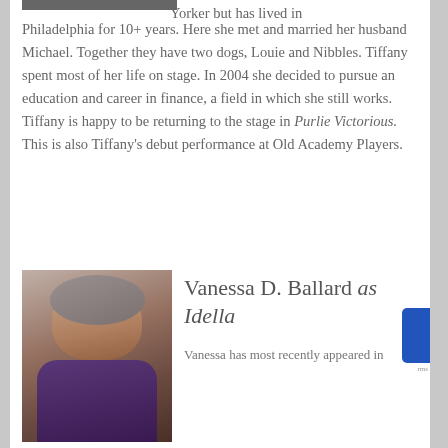[Figure (photo): Partial cropped photo at top of page (top portion visible)]
Yorker but has lived in Philadelphia for 10+ years. Here she met and married her husband Michael. Together they have two dogs, Louie and Nibbles. Tiffany spent most of her life on stage. In 2004 she decided to pursue an education and career in finance, a field in which she still works. Tiffany is happy to be returning to the stage in Purlie Victorious. This is also Tiffany's debut performance at Old Academy Players.
[Figure (photo): Portrait photo of Vanessa D. Ballard, a woman with short gray hair, smiling, wearing a purple top and gold earrings]
Vanessa D. Ballard as Idella
Vanessa has most recently appeared in